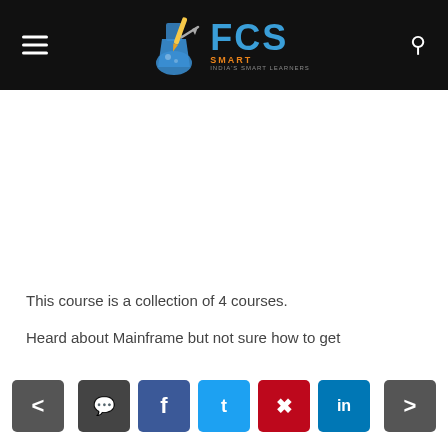FCS — navigation header with logo, hamburger menu, and search icon
[Figure (logo): FCS (Forget Computer Science?) logo: blue flask with pencil and arrow, bold blue FCS text, orange SMART subtitle on dark header background]
This course is a collection of 4 courses.
Heard about Mainframe but not sure how to get
Navigation and social share buttons: Previous (<), Comment, Facebook, Twitter, Pinterest, LinkedIn, Next (>)